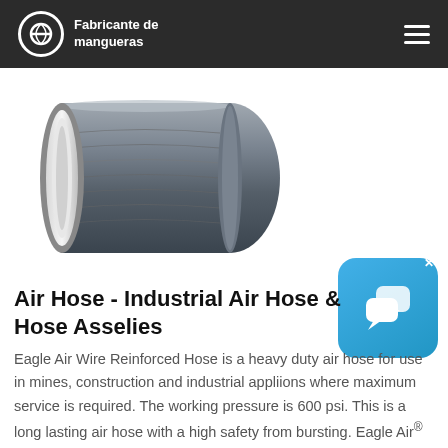Fabricante de mangueras
[Figure (illustration): Industrial air hose illustration showing a grey wire-reinforced hose with white inner tube, viewed at an angle]
[Figure (other): Blue chat/messenger app icon widget with two speech bubbles, with an X close button]
Air Hose - Industrial Air Hose & Hose Asselies
Eagle Air Wire Reinforced Hose is a heavy duty air hose for use in mines, construction and industrial appliions where maximum service is required. The working pressure is 600 psi. This is a long lasting air hose with a high safety from bursting. Eagle Air® 300 PSI Textile Air Hose. Eagle Air 300 PSI Textile Air Hose is a heavy-duty air hose for appliions in industry, ...